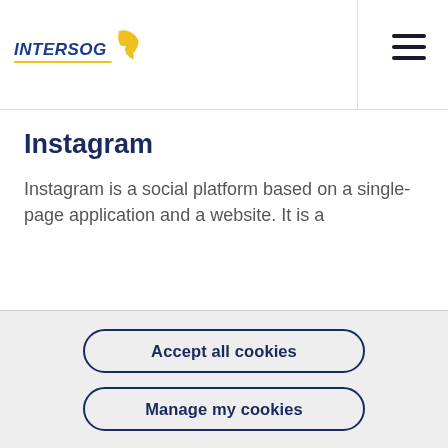INTERSOG
Instagram
Instagram is a social platform based on a single-page application and a website. It is a
Accept all cookies
Manage my cookies
This website uses cookies: (i) for functional purposes; (ii) to understand how you interact with this website; (iii) to provide personalized ads. To learn more, see our Privacy Policy.